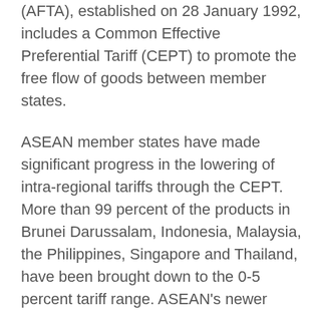(AFTA), established on 28 January 1992, includes a Common Effective Preferential Tariff (CEPT) to promote the free flow of goods between member states.
ASEAN member states have made significant progress in the lowering of intra-regional tariffs through the CEPT. More than 99 percent of the products in Brunei Darussalam, Indonesia, Malaysia, the Philippines, Singapore and Thailand, have been brought down to the 0-5 percent tariff range. ASEAN's newer members, namely Cambodia, Laos, Myanmar and Viet Nam, are not far behind.
ASEAN member states have also resolved to work on the elimination of non-tariff barriers, which